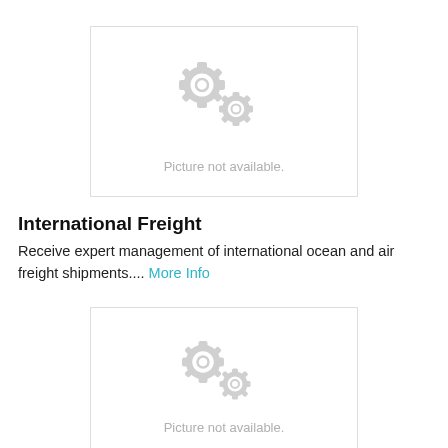[Figure (illustration): Placeholder image with two grey gear icons and text 'Picture not available.' for International Freight section]
International Freight
Receive expert management of international ocean and air freight shipments.... More Info
[Figure (illustration): Placeholder image with two grey gear icons and text 'Picture not available.' for Warehouse Services section]
Warehouse Services
Improve your supply chain efficiency